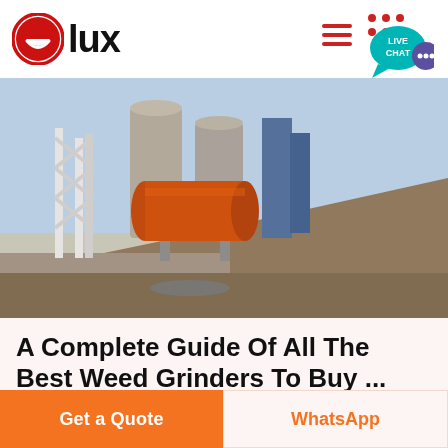[Figure (logo): Olux brand logo with red circle containing white smiley face and bold text 'lux']
[Figure (photo): Industrial facility with large cylindrical orange/red horizontal drum, concrete silos, metal framework, and a mound of aggregate material in the foreground under a clear sky]
A Complete Guide Of All The Best Weed Grinders To Buy ...
Grinding your weed into fine, loose pieces means you
Get a Quote
WhatsApp